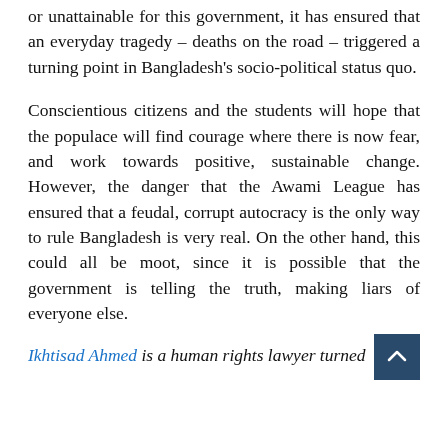or unattainable for this government, it has ensured that an everyday tragedy – deaths on the road – triggered a turning point in Bangladesh's socio-political status quo.
Conscientious citizens and the students will hope that the populace will find courage where there is now fear, and work towards positive, sustainable change. However, the danger that the Awami League has ensured that a feudal, corrupt autocracy is the only way to rule Bangladesh is very real. On the other hand, this could all be moot, since it is possible that the government is telling the truth, making liars of everyone else.
Ikhtisad Ahmed is a human rights lawyer turned